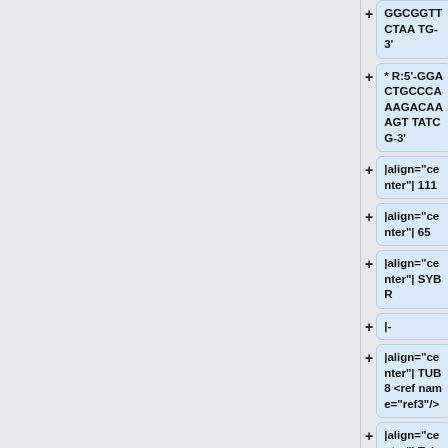GGCGGTTCTAATG-3'
* R:5'-GGACTGCCCAAAGACAAAGTTATCG-3'
|align="center"| 111
|align="center"| 65
|align="center"| SYBR
|-
|align="center"| TUB8 <ref name="ref3"/>
|align="center"| Tubulin beta 8